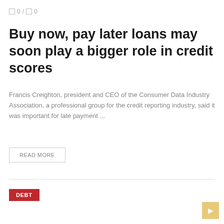0 / 0
Buy now, pay later loans may soon play a bigger role in credit scores
Francis Creighton, president and CEO of the Consumer Data Industry Association, a professional group for the credit reporting industry, said it was important for late payment ...
READ MORE
DEBT